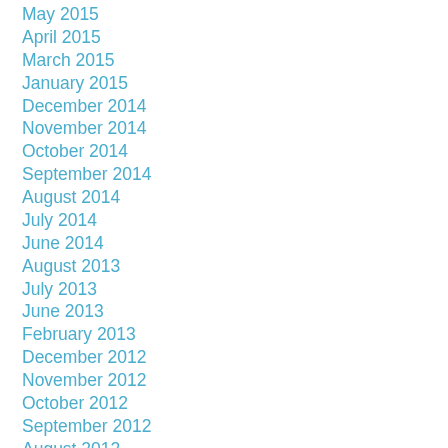May 2015
April 2015
March 2015
January 2015
December 2014
November 2014
October 2014
September 2014
August 2014
July 2014
June 2014
August 2013
July 2013
June 2013
February 2013
December 2012
November 2012
October 2012
September 2012
August 2012
July 2012